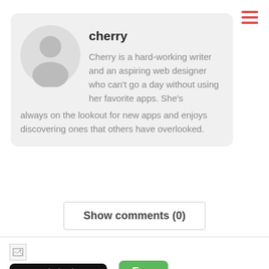[Figure (other): Hamburger menu icon with three red horizontal lines, top right]
[Figure (other): Author card with gray background, circular avatar placeholder (silhouette), and bio text]
cherry
Cherry is a hard-working writer and an aspiring web designer who can't go a day without using her favorite apps. She's always on the lookout for new apps and enjoys discovering ones that others have overlooked.
Show comments  (0)
[Figure (other): Broken image placeholder icon]
[Figure (other): Download on the App Store black badge button]
[Figure (other): Add to watchlist red badge button]
Free
iPhone / iPad
Genres: